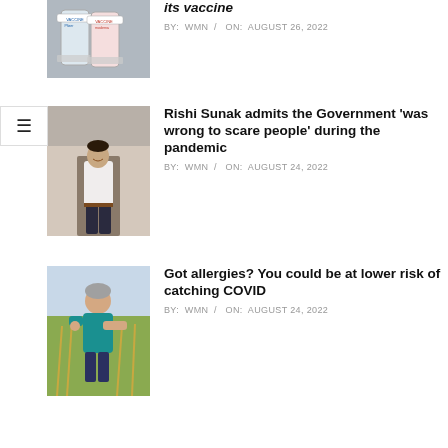[Figure (photo): Pfizer and Moderna COVID-19 vaccine vials]
its vaccine
BY: WMN / ON: AUGUST 26, 2022
[Figure (photo): Rishi Sunak standing and smiling in white shirt]
Rishi Sunak admits the Government ‘was wrong to scare people’ during the pandemic
BY: WMN / ON: AUGUST 24, 2022
[Figure (photo): Man in teal shirt outdoors scratching arm, allergy concept]
Got allergies? You could be at lower risk of catching COVID
BY: WMN / ON: AUGUST 24, 2022